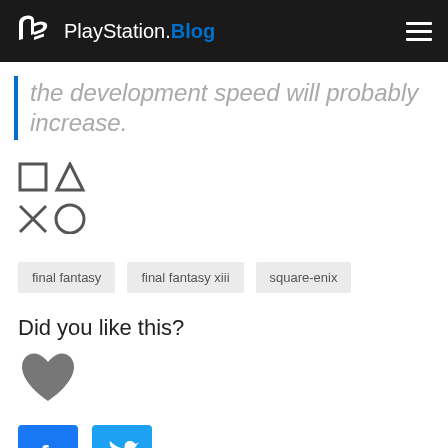PlayStation.Blog
the development speed will probably increase.
[Figure (logo): PlayStation controller button symbols: square, triangle, cross, circle arranged in 2x2 grid]
final fantasy
final fantasy xiii
square-enix
Did you like this?
[Figure (illustration): Gray heart icon]
[Figure (illustration): Facebook and Twitter social share buttons]